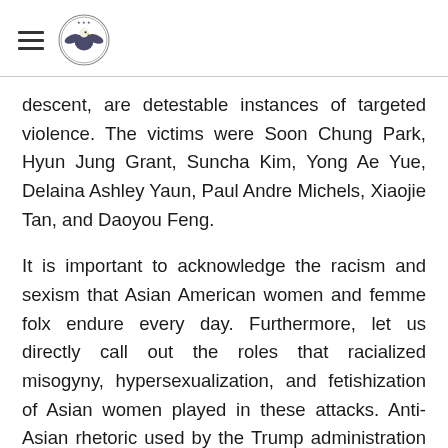[Hamburger menu icon] [Government seal logo]
descent, are detestable instances of targeted violence. The victims were Soon Chung Park, Hyun Jung Grant, Suncha Kim, Yong Ae Yue, Delaina Ashley Yaun, Paul Andre Michels, Xiaojie Tan, and Daoyou Feng.
It is important to acknowledge the racism and sexism that Asian American women and femme folx endure every day. Furthermore, let us directly call out the roles that racialized misogyny, hypersexualization, and fetishization of Asian women played in these attacks. Anti-Asian rhetoric used by the Trump administration before and during the COVID-19 pandemic has made Asian folx a target. Discrimination and violence against Asian communities are not new phenomena; they are